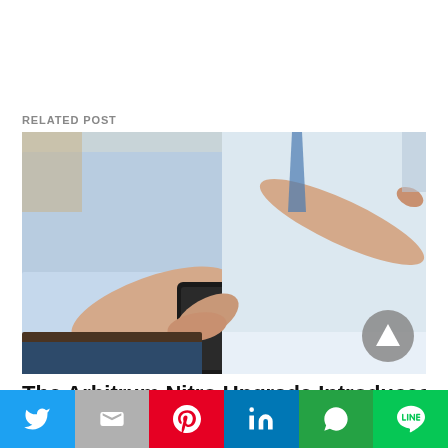RELATED POST
[Figure (photo): Two businessmen in white dress shirts looking at a smartphone; one hand holds the phone while the other points at the screen.]
The Arbitrum Nitro Upgrade Introduces
Social share bar with Twitter, Gmail, Pinterest, LinkedIn, WhatsApp, Line buttons